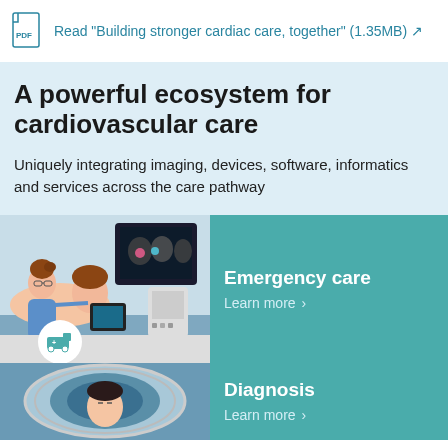Read "Building stronger cardiac care, together" (1.35MB)
A powerful ecosystem for cardiovascular care
Uniquely integrating imaging, devices, software, informatics and services across the care pathway
[Figure (photo): Medical professional performing ultrasound/echocardiography on a patient, with imaging monitor in background]
Emergency care
Learn more ›
[Figure (photo): Patient in medical imaging device, partial view]
Diagnosis
Learn more ›